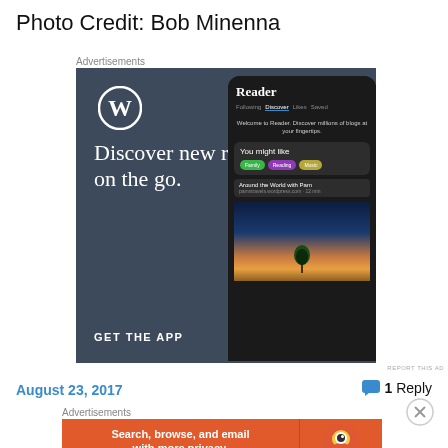Photo Credit: Bob Minenna
Advertisements
[Figure (screenshot): WordPress app advertisement showing 'Discover new reads on the go.' with GET THE APP call-to-action and a phone mockup showing the Reader interface]
REPORT THIS AD
August 23, 2017
1 Reply
Advertisements
[Figure (screenshot): DuckDuckGo advertisement: 'Search, browse, and email with more privacy. All in One Free App' with DuckDuckGo logo]